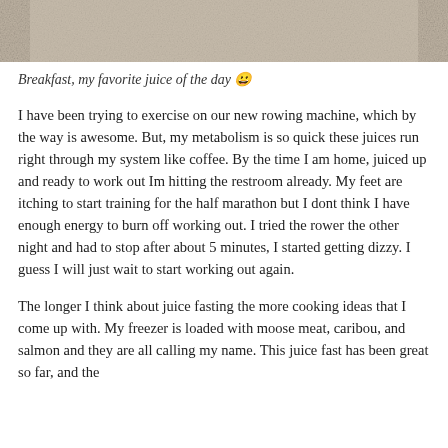[Figure (photo): Top portion of a photo showing a textured sandy or rocky surface, partially cropped]
Breakfast, my favorite juice of the day 😀
I have been trying to exercise on our new rowing machine, which by the way is awesome. But, my metabolism is so quick these juices run right through my system like coffee. By the time I am home, juiced up and ready to work out Im hitting the restroom already. My feet are itching to start training for the half marathon but I dont think I have enough energy to burn off working out. I tried the rower the other night and had to stop after about 5 minutes, I started getting dizzy. I guess I will just wait to start working out again.
The longer I think about juice fasting the more cooking ideas that I come up with. My freezer is loaded with moose meat, caribou, and salmon and they are all calling my name. This juice fast has been great so far, and the